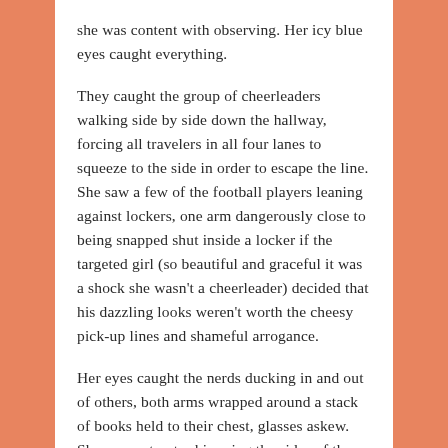she was content with observing. Her icy blue eyes caught everything.
They caught the group of cheerleaders walking side by side down the hallway, forcing all travelers in all four lanes to squeeze to the side in order to escape the line. She saw a few of the football players leaning against lockers, one arm dangerously close to being snapped shut inside a locker if the targeted girl (so beautiful and graceful it was a shock she wasn't a cheerleader) decided that his dazzling looks weren't worth the cheesy pick-up lines and shameful arrogance.
Her eyes caught the nerds ducking in and out of others, both arms wrapped around a stack of books held to their chest, glasses askew. She saw outcasts skimming the sides of the crowds